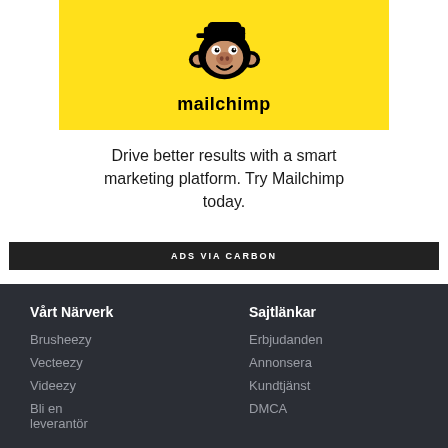[Figure (logo): Mailchimp logo: yellow background box with cartoon monkey head wearing a cap, text 'mailchimp' in bold below]
Drive better results with a smart marketing platform. Try Mailchimp today.
ADS VIA CARBON
Vårt Närverk
Sajtlänkar
Brusheezy
Erbjudanden
Vecteezy
Annonsera
Videezy
Kundtjänst
Bli en leverantör
DMCA